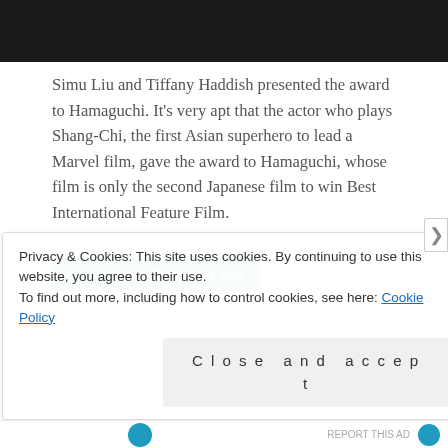[Figure (photo): Dark/black image at the top of the page, likely a photo frame]
Simu Liu and Tiffany Haddish presented the award to Hamaguchi. It’s very apt that the actor who plays Shang-Chi, the first Asian superhero to lead a Marvel film, gave the award to Hamaguchi, whose film is only the second Japanese film to win Best International Feature Film.
Follow Elizabeth Yoo
Privacy & Cookies: This site uses cookies. By continuing to use this website, you agree to their use.
To find out more, including how to control cookies, see here: Cookie Policy
Close and accept